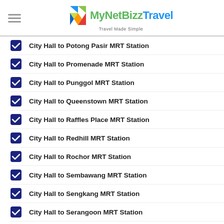[Figure (logo): MyNetBizzTravel logo with colorful geometric icon and tagline 'Travel Made Simple']
City Hall to Potong Pasir MRT Station
City Hall to Promenade MRT Station
City Hall to Punggol MRT Station
City Hall to Queenstown MRT Station
City Hall to Raffles Place MRT Station
City Hall to Redhill MRT Station
City Hall to Rochor MRT Station
City Hall to Sembawang MRT Station
City Hall to Sengkang MRT Station
City Hall to Serangoon MRT Station
City Hall to Simei MRT Station